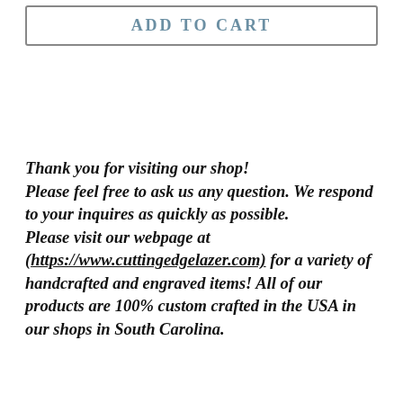[Figure (other): ADD TO CART button — rectangular bordered button with steel-blue bold letter-spaced text]
Thank you for visiting our shop! Please feel free to ask us any question. We respond to your inquires as quickly as possible. Please visit our webpage at (https://www.cuttingedgelazer.com) for a variety of handcrafted and engraved items! All of our products are 100% custom crafted in the USA in our shops in South Carolina.